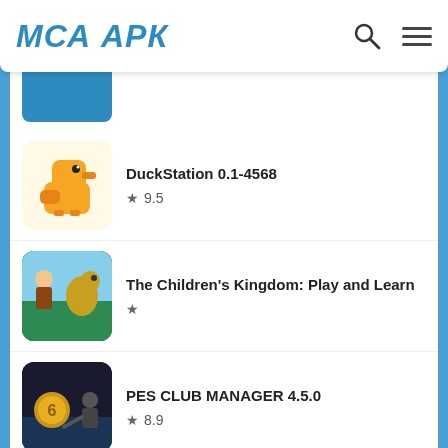MCA APK
[Figure (screenshot): Partially visible app entry with blue thumbnail]
DuckStation 0.1-4568 ★ 9.5
The Children's Kingdom: Play and Learn ★
PES CLUB MANAGER 4.5.0 ★ 8.9
Allrecipes Dinner Spinner